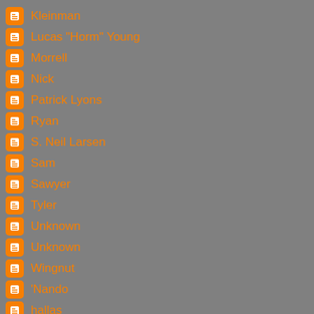Kleinman
Lucas "Horm" Young
Morrell
Nick
Patrick Lyons
Ryan
S. Neil Larsen
Sam
Sawyer
Tyler
Unknown
Unknown
Wingnut
'Nando
hallas
ol' barefoot schoen